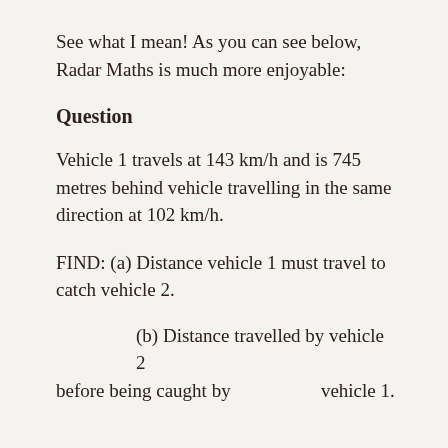See what I mean! As you can see below, Radar Maths is much more enjoyable:
Question
Vehicle 1 travels at 143 km/h and is 745 metres behind vehicle travelling in the same direction at 102 km/h.
FIND: (a) Distance vehicle 1 must travel to catch vehicle 2.
(b) Distance travelled by vehicle 2 before being caught by vehicle 1.